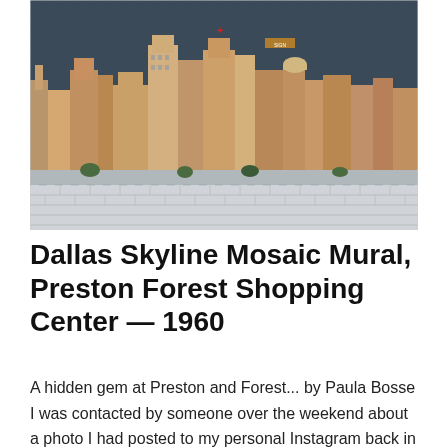[Figure (photo): A wide panoramic mosaic mural depicting the Dallas skyline from the 1960s, mounted on a wall inside Preston Forest Shopping Center. The mural shows detailed tile work of tall buildings and skyscrapers against a dark sky background, with white brick visible below the mural.]
Dallas Skyline Mosaic Mural, Preston Forest Shopping Center — 1960
A hidden gem at Preston and Forest... by Paula Bosse I was contacted by someone over the weekend about a photo I had posted to my personal Instagram back in 2014. And that reminded me that I've been meaning to post the photo for some time now. (The long-ish)